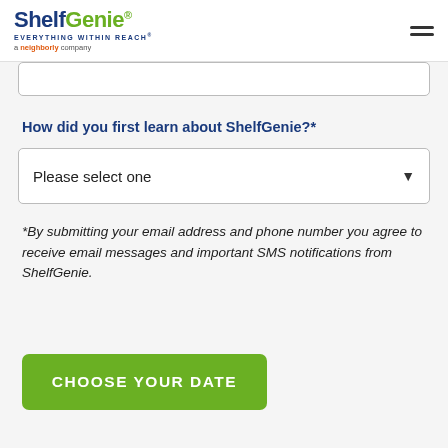ShelfGenie® EVERYTHING WITHIN REACH® a neighborly company
How did you first learn about ShelfGenie?*
Please select one
*By submitting your email address and phone number you agree to receive email messages and important SMS notifications from ShelfGenie.
CHOOSE YOUR DATE